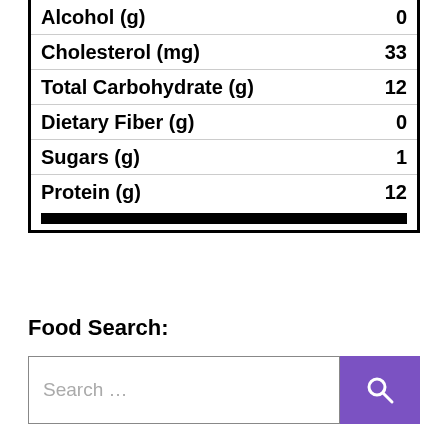| Nutrient | Value |
| --- | --- |
| Alcohol (g) | 0 |
| Cholesterol (mg) | 33 |
| Total Carbohydrate (g) | 12 |
| Dietary Fiber (g) | 0 |
| Sugars (g) | 1 |
| Protein (g) | 12 |
Food Search: